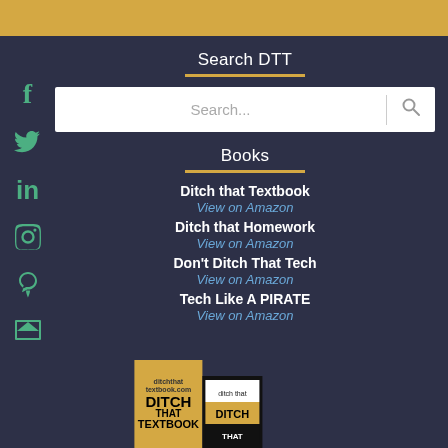[Figure (screenshot): Yellow banner at top of website]
Search DTT
[Figure (screenshot): Search input box with magnifying glass icon]
Books
Ditch that Textbook
View on Amazon
Ditch that Homework
View on Amazon
Don't Ditch That Tech
View on Amazon
Tech Like A PIRATE
View on Amazon
[Figure (photo): Book covers for Ditch That Textbook and Ditch That Homework at the bottom of the page]